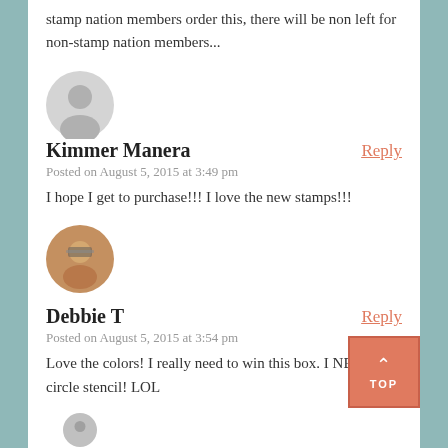stamp nation members order this, there will be non left for non-stamp nation members...
[Figure (illustration): Gray circular avatar placeholder icon]
Kimmer Manera
Posted on August 5, 2015 at 3:49 pm
I hope I get to purchase!!! I love the new stamps!!!
[Figure (photo): Circular profile photo of Debbie T, woman with glasses]
Debbie T
Posted on August 5, 2015 at 3:54 pm
Love the colors! I really need to win this box. I NEED the circle stencil! LOL
[Figure (illustration): Partial gray circular avatar at bottom of page]
TOP